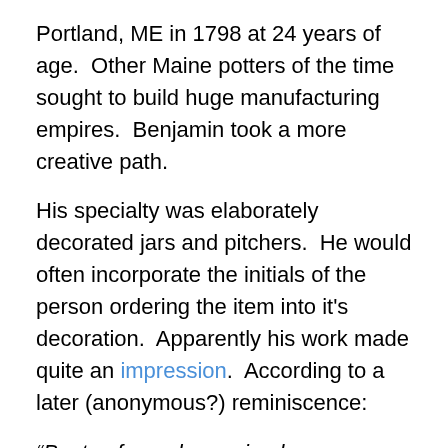Portland, ME in 1798 at 24 years of age.  Other Maine potters of the time sought to build huge manufacturing empires.  Benjamin took a more creative path.
His specialty was elaborately decorated jars and pitchers.  He would often incorporate the initials of the person ordering the item into it's decoration.  Apparently his work made quite an impression.  According to a later (anonymous?) reminiscence:
“Busts of people received more care.  Most of these were in profile.  After the pieces were finished they were set in another room to dry, and it was a favorite amusement with some bad boys, whom the good man tolerated notwithstanding, to disfigure the human faces by drawing down the corners of the mouths to produce a ludicrous expression.  This disfiguring, the potter did not observe